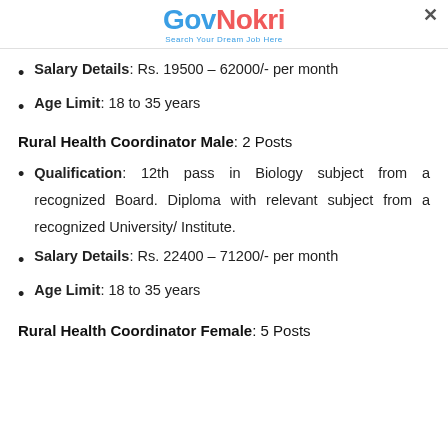[Figure (logo): GovNokri logo with tagline 'Search Your Dream Job Here']
Salary Details: Rs. 19500 – 62000/- per month
Age Limit: 18 to 35 years
Rural Health Coordinator Male: 2 Posts
Qualification: 12th pass in Biology subject from a recognized Board. Diploma with relevant subject from a recognized University/ Institute.
Salary Details: Rs. 22400 – 71200/- per month
Age Limit: 18 to 35 years
Rural Health Coordinator Female: 5 Posts